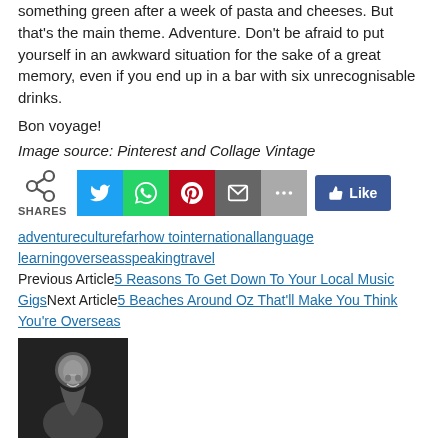something green after a week of pasta and cheeses. But that's the main theme. Adventure. Don't be afraid to put yourself in an awkward situation for the sake of a great memory, even if you end up in a bar with six unrecognisable drinks.
Bon voyage!
Image source: Pinterest and Collage Vintage
[Figure (infographic): Social share buttons: share icon with SHARES label, Twitter (blue), WhatsApp (green), Pinterest (red), Email (grey), More (light grey), Facebook Like (dark blue)]
adventureculturefarhow tointernationallanguagelearningoverseaspeakingtravel Previous Article5 Reasons To Get Down To Your Local Music GigsNext Article5 Beaches Around Oz That'll Make You Think You're Overseas
[Figure (photo): Black and white photo of a young woman smiling, from the shoulders up, in a dark setting.]